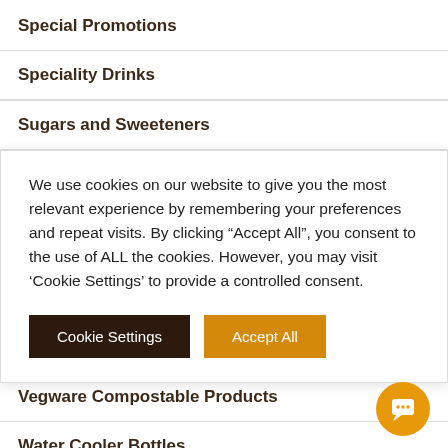Special Promotions
Speciality Drinks
Sugars and Sweeteners
We use cookies on our website to give you the most relevant experience by remembering your preferences and repeat visits. By clicking “Accept All”, you consent to the use of ALL the cookies. However, you may visit ‘Cookie Settings’ to provide a controlled consent.
Vegware Compostable Products
Water Cooler Bottles